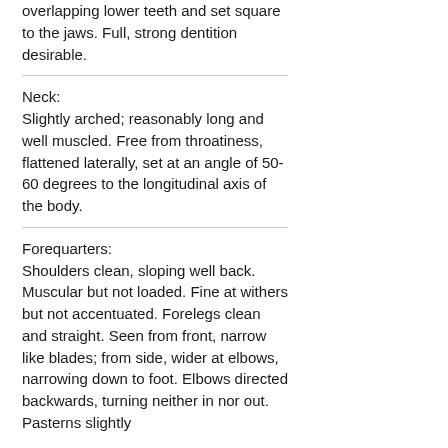overlapping lower teeth and set square to the jaws. Full, strong dentition desirable.
Neck:
Slightly arched; reasonably long and well muscled. Free from throatiness, flattened laterally, set at an angle of 50-60 degrees to the longitudinal axis of the body.
Forequarters:
Shoulders clean, sloping well back. Muscular but not loaded. Fine at withers but not accentuated. Forelegs clean and straight. Seen from front, narrow like blades; from side, wider at elbows, narrowing down to foot. Elbows directed backwards, turning neither in nor out. Pasterns slightly